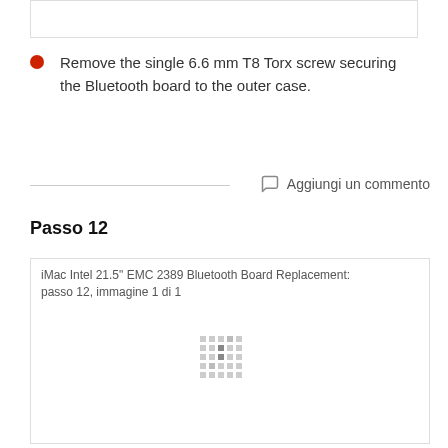[Figure (other): Empty white box at top of page, partial view]
Remove the single 6.6 mm T8 Torx screw securing the Bluetooth board to the outer case.
Aggiungi un commento
Passo 12
[Figure (photo): iMac Intel 21.5" EMC 2389 Bluetooth Board Replacement: passo 12, immagine 1 di 1 — image loading with dot pattern placeholder]